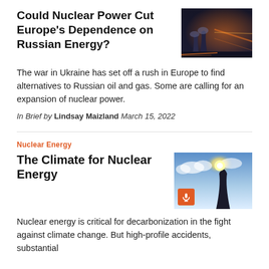Could Nuclear Power Cut Europe's Dependence on Russian Energy?
[Figure (photo): Nighttime photo of nuclear power plant cooling towers with dramatic orange glow and light streaks]
The war in Ukraine has set off a rush in Europe to find alternatives to Russian oil and gas. Some are calling for an expansion of nuclear power.
In Brief by Lindsay Maizland March 15, 2022
Nuclear Energy
The Climate for Nuclear Energy
[Figure (photo): Nuclear power plant cooling tower silhouetted against bright sky with sun visible, podcast microphone badge overlay]
Nuclear energy is critical for decarbonization in the fight against climate change. But high-profile accidents, substantial